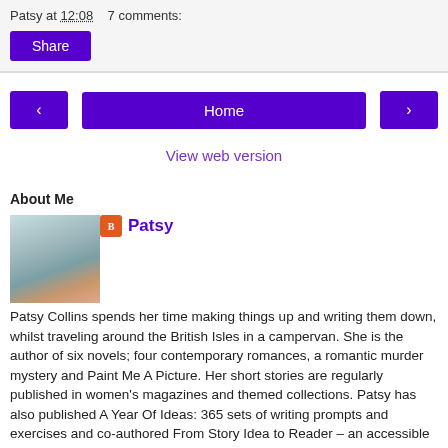Patsy at 12:08   7 comments:
Share
‹
Home
›
View web version
About Me
[Figure (photo): Profile photo of Patsy Collins, a woman with red/auburn hair and glasses]
Patsy
Patsy Collins spends her time making things up and writing them down, whilst traveling around the British Isles in a campervan. She is the author of six novels; four contemporary romances, a romantic murder mystery and Paint Me A Picture. Her short stories are regularly published in women's magazines and themed collections. Patsy has also published A Year Of Ideas: 365 sets of writing prompts and exercises and co-authored From Story Idea to Reader – an accessible guide to writing fiction.
View my complete profile